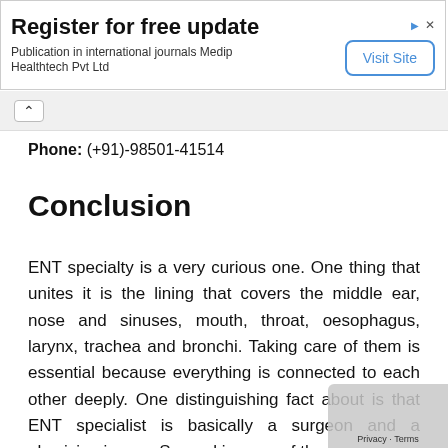[Figure (infographic): Advertisement banner: 'Register for free update — Publication in international journals Medip Healthtech Pvt Ltd' with a 'Visit Site' button on the right and ad icons (arrow, close X) at top right.]
Phone: (+91)-98501-41514
Conclusion
ENT specialty is a very curious one. One thing that unites it is the lining that covers the middle ear, nose and sinuses, mouth, throat, oesophagus, larynx, trachea and bronchi. Taking care of them is essential because everything is connected to each other deeply. One distinguishing fact about is that ENT specialist is basically a surgeon and a physician in one. So, making use of these